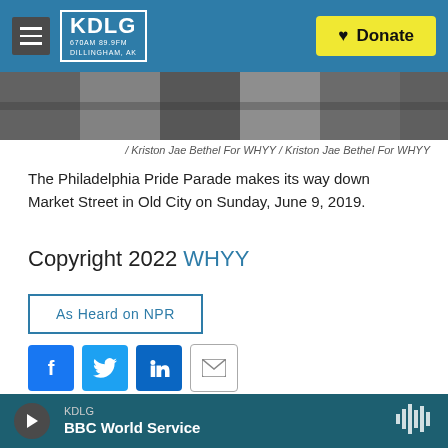KDLG 670AM 89.9FM DILLINGHAM, AK — Donate
[Figure (photo): Partial image of a crowd scene, likely from the Philadelphia Pride Parade]
/ Kriston Jae Bethel For WHYY / Kriston Jae Bethel For WHYY
The Philadelphia Pride Parade makes its way down Market Street in Old City on Sunday, June 9, 2019.
Copyright 2022 WHYY
As Heard on NPR
[Figure (infographic): Social sharing icons: Facebook, Twitter, LinkedIn, Email]
Michaela Winberg
KDLG — BBC World Service